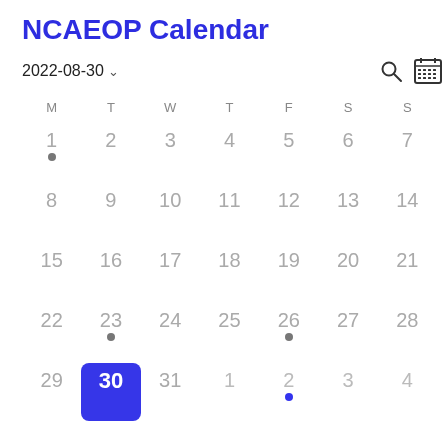NCAEOP Calendar
2022-08-30
| M | T | W | T | F | S | S |
| --- | --- | --- | --- | --- | --- | --- |
| 1● | 2 | 3 | 4 | 5 | 6 | 7 |
| 8 | 9 | 10 | 11 | 12 | 13 | 14 |
| 15 | 16 | 17 | 18 | 19 | 20 | 21 |
| 22 | 23● | 24 | 25 | 26● | 27 | 28 |
| 29 | 30 [selected] | 31 | 1 | 2● | 3 | 4 |